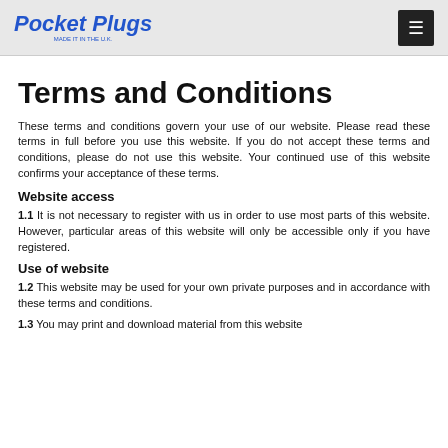Pocket Plugs
Terms and Conditions
These terms and conditions govern your use of our website. Please read these terms in full before you use this website. If you do not accept these terms and conditions, please do not use this website. Your continued use of this website confirms your acceptance of these terms.
Website access
1.1 It is not necessary to register with us in order to use most parts of this website. However, particular areas of this website will only be accessible only if you have registered.
Use of website
1.2 This website may be used for your own private purposes and in accordance with these terms and conditions.
1.3 You may print and download material from this website